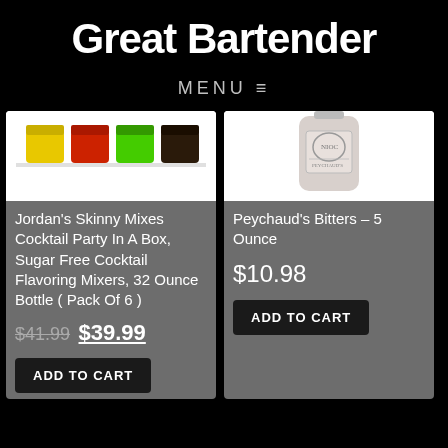Great Bartender
MENU ≡
[Figure (photo): Colorful cocktail flavoring mix jars (yellow, red, green, dark) on white background]
Jordan's Skinny Mixes Cocktail Party In A Box, Sugar Free Cocktail Flavoring Mixers, 32 Ounce Bottle ( Pack Of 6 )
$41.99 $39.99
ADD TO CART
[Figure (photo): Peychaud's Bitters bottle on white background, showing label with decorative design]
Peychaud's Bitters – 5 Ounce
$10.98
ADD TO CART